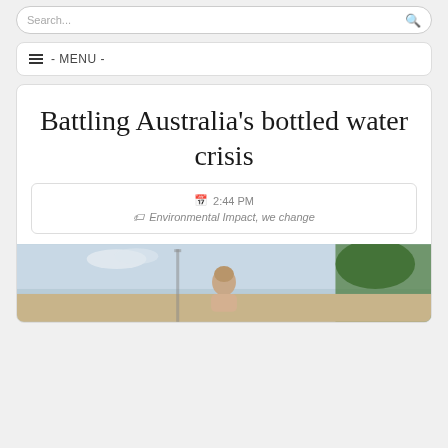Search...
≡ - MENU -
Battling Australia's bottled water crisis
2:44 PM
Environmental Impact, we change
[Figure (photo): Outdoor photo showing a person with background of sky and trees/buildings]